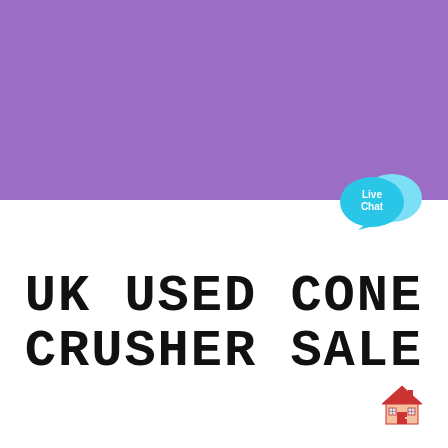[Figure (illustration): Purple banner background covering the top half of the image]
[Figure (illustration): Live Chat speech bubble icon in cyan/blue with text 'Live Chat' inside, positioned at top right transitioning area]
UK USED CONE CRUSHER SALE
[Figure (illustration): Red house/storefront emoji icon at bottom right corner]